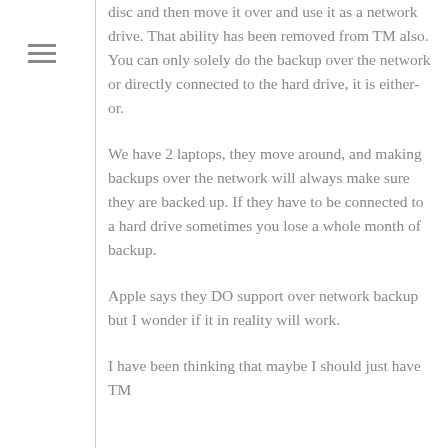disc and then move it over and use it as a network drive. That ability has been removed from TM also. You can only solely do the backup over the network or directly connected to the hard drive, it is either-or.
We have 2 laptops, they move around, and making backups over the network will always make sure they are backed up. If they have to be connected to a hard drive sometimes you lose a whole month of backup.
Apple says they DO support over network backup but I wonder if it in reality will work.
I have been thinking that maybe I should just have TM